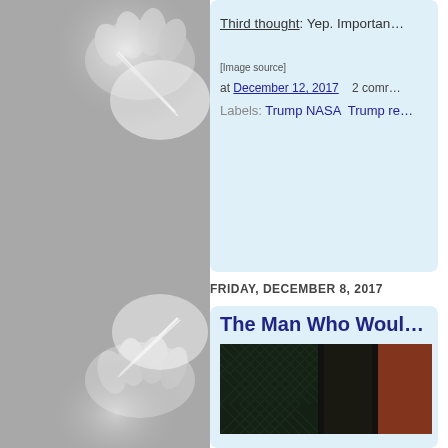[Figure (photo): Gloved hands holding needles or syringes, grayscale/muted photo on left side of page]
Third thought: Yep. Importan…
[Image source]
at December 12, 2017    2 comr…
Labels: Trump NASA  Trump re…
FRIDAY, DECEMBER 8, 2017
The Man Who Woul…
[Figure (photo): Dark decorative panels or doors with geometric lattice/grid pattern in dark green and rust/brown colors]